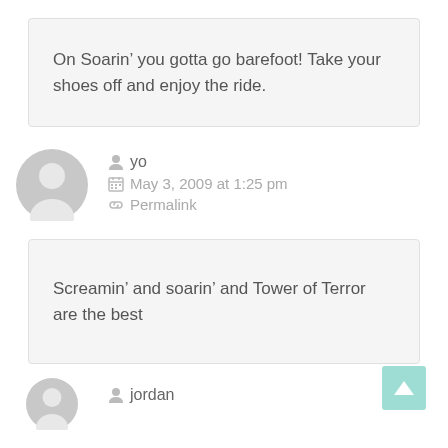On Soarin’ you gotta go barefoot! Take your shoes off and enjoy the ride.
yo
May 3, 2009 at 1:25 pm
Permalink
Screamin’ and soarin’ and Tower of Terror are the best
jordan